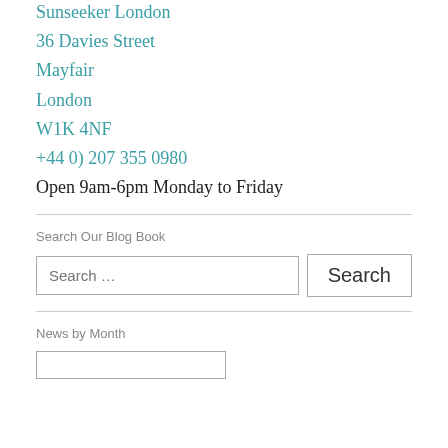Sunseeker London
36 Davies Street
Mayfair
London
W1K 4NF
+44 0) 207 355 0980
Open 9am-6pm Monday to Friday
Search Our Blog Book
Search …
News by Month